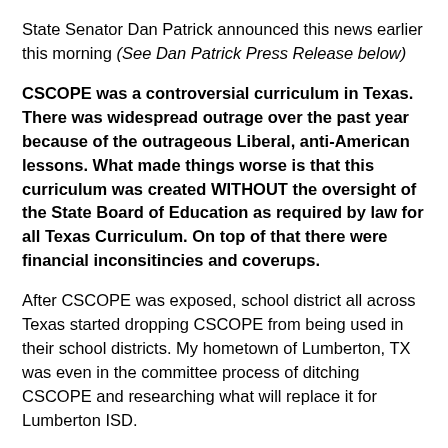State Senator Dan Patrick announced this news earlier this morning (See Dan Patrick Press Release below)
CSCOPE was a controversial curriculum in Texas. There was widespread outrage over the past year because of the outrageous Liberal, anti-American lessons. What made things worse is that this curriculum was created WITHOUT the oversight of the State Board of Education as required by law for all Texas Curriculum. On top of that there were financial inconsitencies and coverups.
After CSCOPE was exposed, school district all across Texas started dropping CSCOPE from being used in their school districts. My hometown of Lumberton, TX was even in the committee process of ditching CSCOPE and researching what will replace it for Lumberton ISD.
It is believed that TESCCC was facing investigations into the financing of CSCOPE and that is what finally compelled them to finally pull all CSCOPE lessons before they could be investigated further.